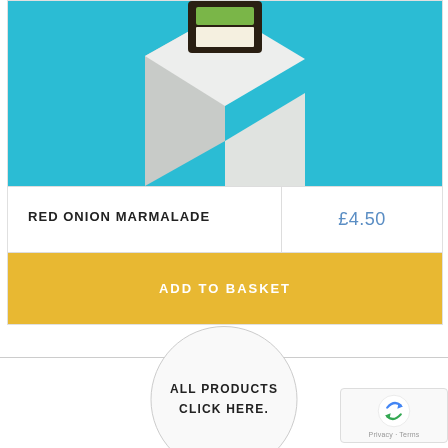[Figure (photo): Product photo of a jar of Red Onion Marmalade on a white geometric pedestal against a turquoise/cyan background]
RED ONION MARMALADE
£4.50
ADD TO BASKET
ALL PRODUCTS
CLICK HERE.